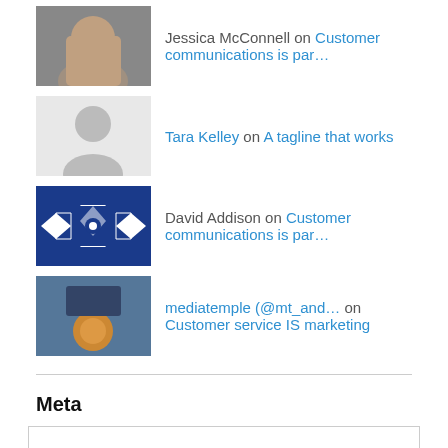Jessica McConnell on Customer communications is par…
Tara Kelley on A tagline that works
David Addison on Customer communications is par…
mediatemple (@mt_and… on Customer service IS marketing
Meta
Privacy & Cookies: This site uses cookies. By continuing to use this website, you agree to their use.
To find out more, including how to control cookies, see here: Cookie Policy
Close and accept